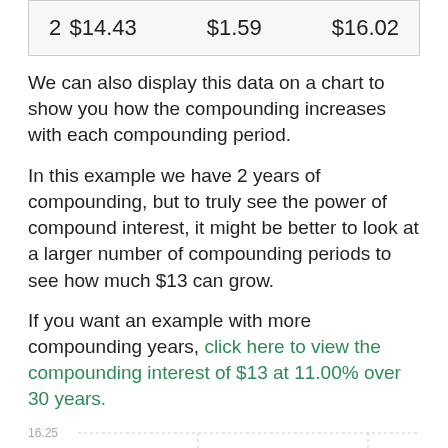| 2 | $14.43 | $1.59 | $16.02 |
We can also display this data on a chart to show you how the compounding increases with each compounding period.
In this example we have 2 years of compounding, but to truly see the power of compound interest, it might be better to look at a larger number of compounding periods to see how much $13 can grow.
If you want an example with more compounding years, click here to view the compounding interest of $13 at 11.00% over 30 years.
[Figure (line-chart): Compound Interest Growth]